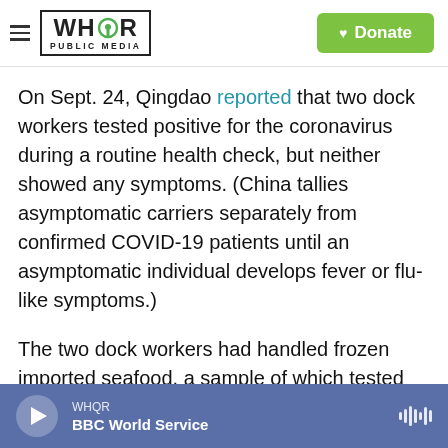WHQR PUBLIC MEDIA — Donate
On Sept. 24, Qingdao reported that two dock workers tested positive for the coronavirus during a routine health check, but neither showed any symptoms. (China tallies asymptomatic carriers separately from confirmed COVID-19 patients until an asymptomatic individual develops fever or flu-like symptoms.)
The two dock workers had handled frozen imported seafood, a sample of which tested positive for the coronavirus on the surface of its packaging. One of the two dock workers began exhibiting symptoms on Oct. 14, nearly three weeks after first testing
WHQR — BBC World Service